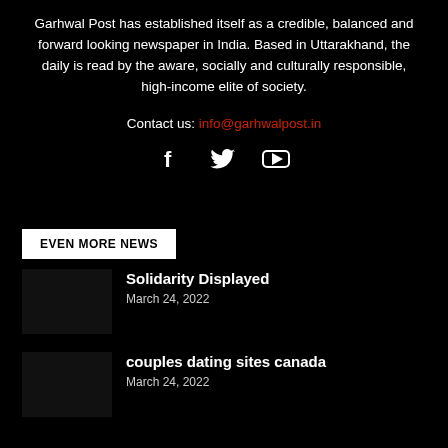Garhwal Post has established itself as a credible, balanced and forward looking newspaper in India. Based in Uttarakhand, the daily is read by the aware, socially and culturally responsible, high-income elite of society.
Contact us: info@garhwalpost.in
[Figure (other): Social media icons: Facebook, Twitter, YouTube]
EVEN MORE NEWS
Solidarity Displayed
March 24, 2022
couples dating sites canada
March 24, 2022